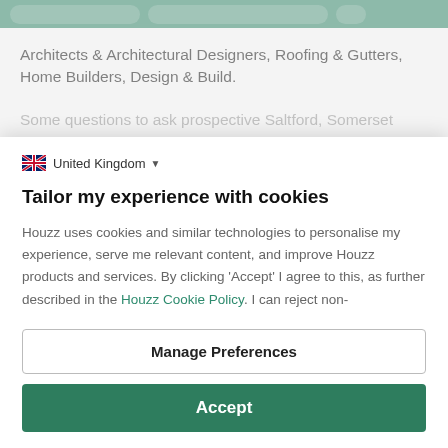[Figure (screenshot): Top green navigation bar with partial website buttons visible]
Architects & Architectural Designers, Roofing & Gutters, Home Builders, Design & Build.
Some questions to ask prospective Saltford, Somerset
United Kingdom
Tailor my experience with cookies
Houzz uses cookies and similar technologies to personalise my experience, serve me relevant content, and improve Houzz products and services. By clicking 'Accept' I agree to this, as further described in the Houzz Cookie Policy. I can reject non-
Manage Preferences
Accept